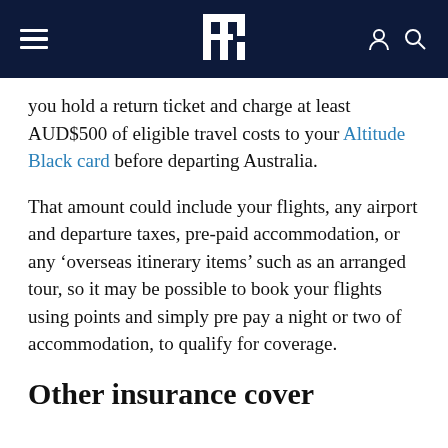BE [logo]
you hold a return ticket and charge at least AUD$500 of eligible travel costs to your Altitude Black card before departing Australia.
That amount could include your flights, any airport and departure taxes, pre-paid accommodation, or any ‘overseas itinerary items’ such as an arranged tour, so it may be possible to book your flights using points and simply pre pay a night or two of accommodation, to qualify for coverage.
Other insurance cover